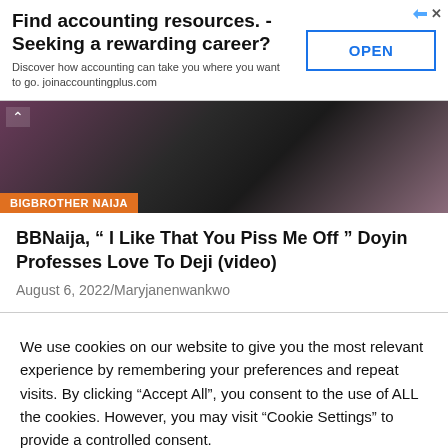[Figure (screenshot): Advertisement banner: 'Find accounting resources. - Seeking a rewarding career?' with OPEN button and ad icons]
[Figure (photo): BBNaija thumbnail image with dark background and orange BIGBROTHER NAIJA tag, with chevron/back arrow overlay]
BBNaija, “ I Like That You Piss Me Off ” Doyin Professes Love To Deji (video)
August 6, 2022/Maryjanenwankwo
We use cookies on our website to give you the most relevant experience by remembering your preferences and repeat visits. By clicking "Accept All", you consent to the use of ALL the cookies. However, you may visit "Cookie Settings" to provide a controlled consent.